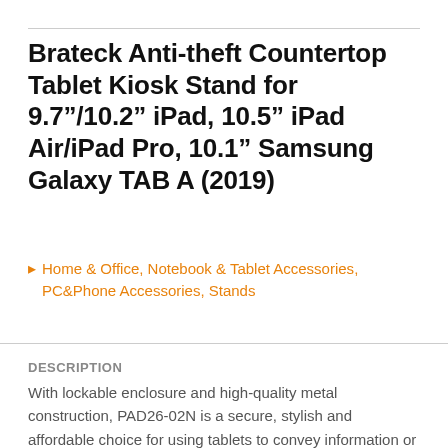Brateck Anti-theft Countertop Tablet Kiosk Stand for 9.7"/10.2" iPad, 10.5" iPad Air/iPad Pro, 10.1" Samsung Galaxy TAB A (2019)
Home & Office, Notebook & Tablet Accessories, PC&Phone Accessories, Stands
DESCRIPTION
With lockable enclosure and high-quality metal construction, PAD26-02N is a secure, stylish and affordable choice for using tablets to convey information or advertising in a public setting. 90° Rotation and free-tilting ability adapt to different viewing needs. Cable management keeps wiring organized and protected.